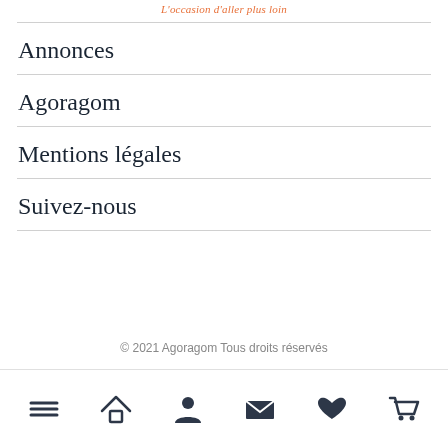L'occasion d'aller plus loin
Annonces
Agoragom
Mentions légales
Suivez-nous
© 2021 Agoragom Tous droits réservés